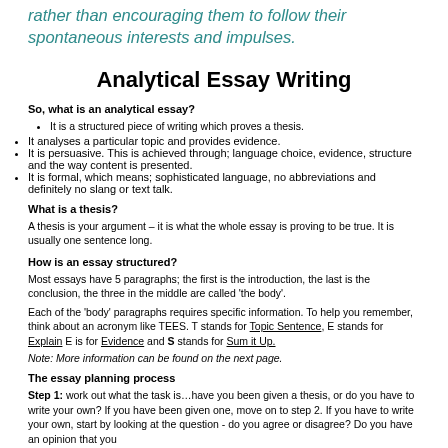rather than encouraging them to follow their spontaneous interests and impulses.
Analytical Essay Writing
So, what is an analytical essay?
It is a structured piece of writing which proves a thesis.
It analyses a particular topic and provides evidence.
It is persuasive. This is achieved through; language choice, evidence, structure and the way content is presented.
It is formal, which means; sophisticated language, no abbreviations and definitely no slang or text talk.
What is a thesis?
A thesis is your argument – it is what the whole essay is proving to be true. It is usually one sentence long.
How is an essay structured?
Most essays have 5 paragraphs; the first is the introduction, the last is the conclusion, the three in the middle are called 'the body'.
Each of the 'body' paragraphs requires specific information. To help you remember, think about an acronym like TEES. T stands for Topic Sentence, E stands for Explain E is for Evidence and S stands for Sum it Up.
Note: More information can be found on the next page.
The essay planning process
Step 1: work out what the task is…have you been given a thesis, or do you have to write your own? If you have been given one, move on to step 2. If you have to write your own, start by looking at the question - do you agree or disagree? Do you have an opinion that you